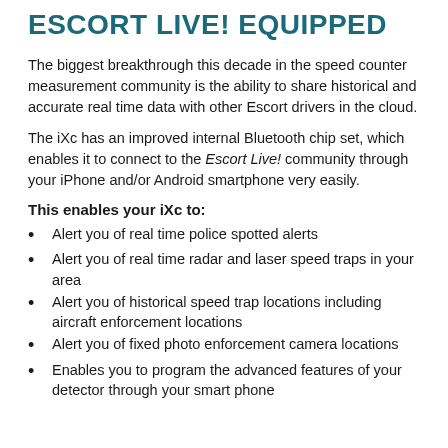ESCORT LIVE! EQUIPPED
The biggest breakthrough this decade in the speed counter measurement community is the ability to share historical and accurate real time data with other Escort drivers in the cloud.
The iXc has an improved internal Bluetooth chip set, which enables it to connect to the Escort Live! community through your iPhone and/or Android smartphone very easily.
This enables your iXc to:
Alert you of real time police spotted alerts
Alert you of real time radar and laser speed traps in your area
Alert you of historical speed trap locations including aircraft enforcement locations
Alert you of fixed photo enforcement camera locations
Enables you to program the advanced features of your detector through your smart phone